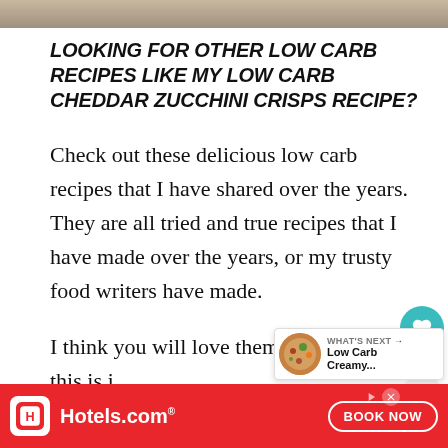[Figure (photo): Partial photo strip at top of page, showing a blurred food or surface image]
LOOKING FOR OTHER LOW CARB RECIPES LIKE MY LOW CARB CHEDDAR ZUCCHINI CRISPS RECIPE?
Check out these delicious low carb recipes that I have shared over the years. They are all tried and true recipes that I have made over the years, or my trusty food writers have made.
I think you will love them all! Of course, this is just a small selection of low carb recipes, but we have LOTS and lots of recipes on the blog that are perfect – just type "low carb recipe" into the search bar on the right hand side of the screen and they will...
[Figure (infographic): Heart save button (teal circle with heart icon), count 109, and share button overlay on right side]
[Figure (infographic): What's Next panel showing Low Carb Creamy... recipe thumbnail with circular food photo]
[Figure (infographic): Hotels.com advertisement banner with red background, Hotels.com logo, and BOOK NOW button]